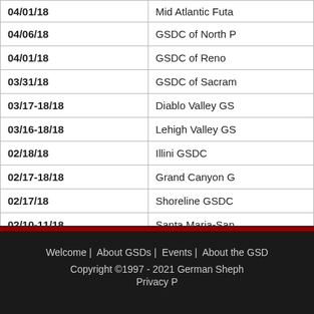| Date | Organization |
| --- | --- |
| 04/01/18 | Mid Atlantic Futa... |
| 04/06/18 | GSDC of North P... |
| 04/01/18 | GSDC of Reno |
| 03/31/18 | GSDC of Sacram... |
| 03/17-18/18 | Diablo Valley GS... |
| 03/16-18/18 | Lehigh Valley GS... |
| 02/18/18 | Illini GSDC |
| 02/17-18/18 | Grand Canyon G... |
| 02/17/18 | Shoreline GSDC... |
| 02/10-11/18 | Santa Maria-San... |
| 01/13-14/18 | Golden State GS... |
| 01/05-07/18 | Florida Sunshine... |
Welcome | About GSDs | Events | About the GSD... Copyright ©1997 - 2021 German Sheph... Privacy P...